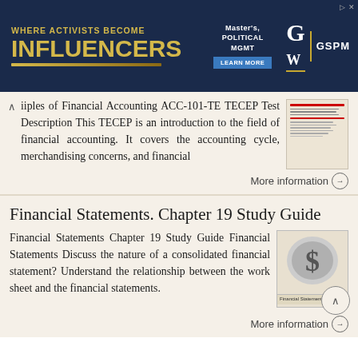[Figure (other): GW GSPM advertisement banner: 'WHERE ACTIVISTS BECOME INFLUENCERS' - Master's Political Management, Learn More button, GW logo and GSPM text on dark navy background]
iiples of Financial Accounting ACC-101-TE TECEP Test Description This TECEP is an introduction to the field of financial accounting. It covers the accounting cycle, merchandising concerns, and financial
More information →
Financial Statements. Chapter 19 Study Guide
Financial Statements Chapter 19 Study Guide Financial Statements Discuss the nature of a consolidated financial statement? Understand the relationship between the work sheet and the financial statements.
More information →